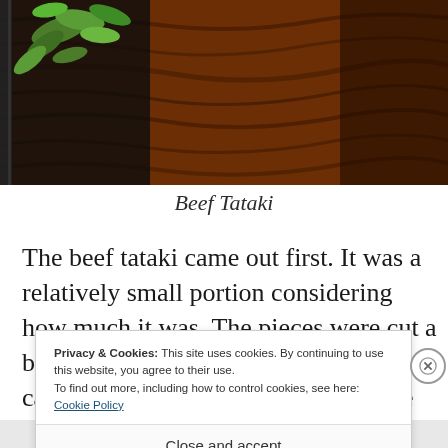[Figure (photo): Food photography showing beef tataki on a dark tray with green garnish, placed on a dark wooden surface with rich reddish-brown grain]
Beef Tataki
The beef tataki came out first. It was a relatively small portion considering how much it was. The pieces were cut a bit thicker than other places that you can get beef tataki. The flavours were
Privacy & Cookies: This site uses cookies. By continuing to use this website, you agree to their use.
To find out more, including how to control cookies, see here: Cookie Policy
Close and accept